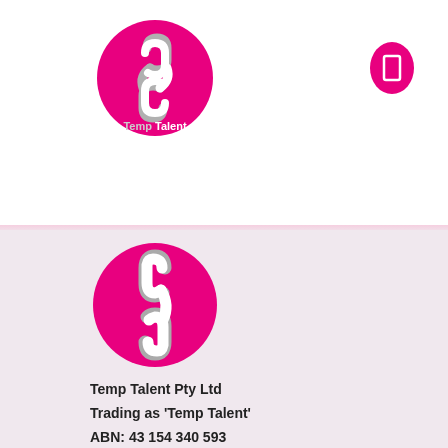[Figure (logo): Temp Talent logo: pink circle with chain-link icon and text 'Temp Talent' in white/grey]
[Figure (logo): Small pink oval/circle with a white bookmark or rectangle icon, navigation button]
[Figure (logo): Large Temp Talent chain-link logo icon on pink circle background, footer version]
Temp Talent Pty Ltd
Trading as 'Temp Talent'
ABN: 43 154 340 593